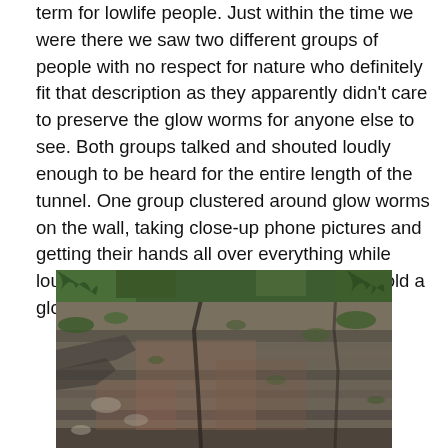term for lowlife people. Just within the time we were there we saw two different groups of people with no respect for nature who definitely fit that description as they apparently didn't care to preserve the glow worms for anyone else to see. Both groups talked and shouted loudly enough to be heard for the entire length of the tunnel. One group clustered around glow worms on the wall, taking close-up phone pictures and getting their hands all over everything while loudly wondering if they would be able to hold a glow worm.
[Figure (photo): A rocky cliff face or stone wall with layered rock formations, moss, and vegetation growing in crevices. The rock appears dark grey and reddish-brown with green moss patches.]